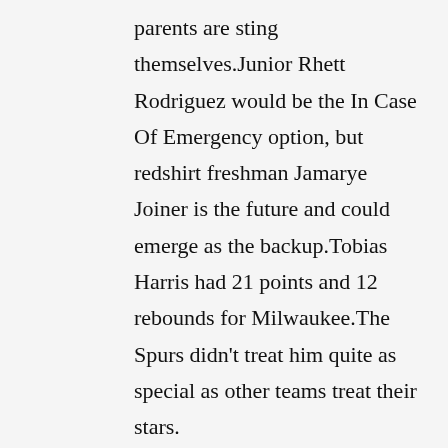parents are sting themselves.Junior Rhett Rodriguez would be the In Case Of Emergency option, but redshirt freshman Jamarye Joiner is the future and could emerge as the backup.Tobias Harris had 21 points and 12 rebounds for Milwaukee.The Spurs didn't treat him quite as special as other teams treat their stars.
The Red Sox, meanwhile, will have Eovaldi make his first start Sunday against the Minnesota Twins.The Packers obviously would have been much better record-wise last year if Aaron Rodgers had been